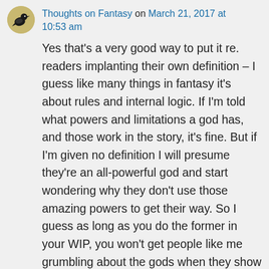Thoughts on Fantasy on March 21, 2017 at 10:53 am
Yes that's a very good way to put it re. readers implanting their own definition – I guess like many things in fantasy it's about rules and internal logic. If I'm told what powers and limitations a god has, and those work in the story, it's fine. But if I'm given no definition I will presume they're an all-powerful god and start wondering why they don't use those amazing powers to get their way. So I guess as long as you do the former in your WIP, you won't get people like me grumbling about the gods when they show up 🙂